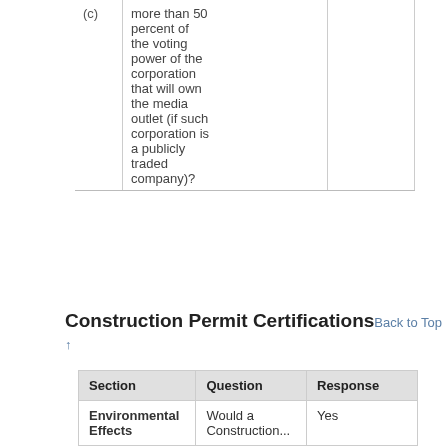|  | Question | Response |
| --- | --- | --- |
| (c) | more than 50 percent of the voting power of the corporation that will own the media outlet (if such corporation is a publicly traded company)? |  |
Construction Permit Certifications
| Section | Question | Response |
| --- | --- | --- |
| Environmental Effects | Would a Construction... | Yes |